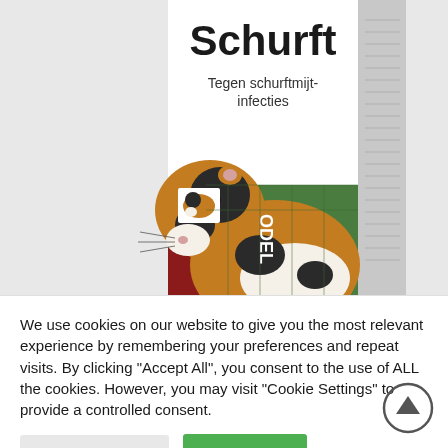[Figure (photo): Product box of 'Anti Schurft' (anti-scabies/mite) treatment for small animals, showing a guinea pig on the front label with text 'Tegen schurftmijt-infecties' (Against mange mite infections). The box is green and white with partial text visible.]
We use cookies on our website to give you the most relevant experience by remembering your preferences and repeat visits. By clicking "Accept All", you consent to the use of ALL the cookies. However, you may visit "Cookie Settings" to provide a controlled consent.